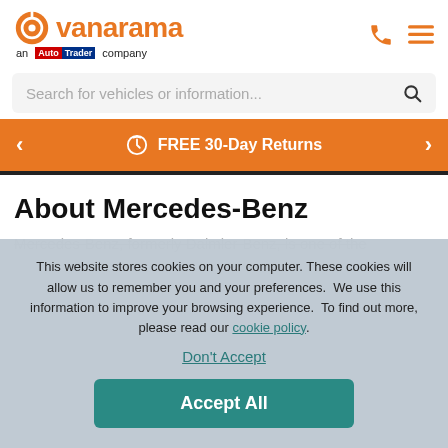[Figure (logo): Vanarama logo with orange circular icon and 'vanarama' text in orange, subtitle 'an AutoTrader company' with AutoTrader badge]
Search for vehicles or information...
FREE 30-Day Returns
About Mercedes-Benz
Mercedes-Benz, formerly Daimler-Benz, is one of the
This website stores cookies on your computer. These cookies will allow us to remember you and your preferences.  We use this information to improve your browsing experience.  To find out more, please read our cookie policy.
Don't Accept
Accept All